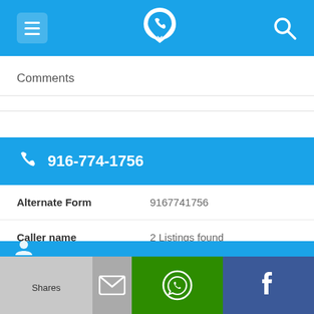[Figure (screenshot): Mobile app top navigation bar with hamburger menu icon, phone/pin logo, and search icon on blue background]
Comments
916-774-1756
| Alternate Form | 9167741756 |
| Caller name | 2 Listings found |
| Last User Search | No searches yet |
| Comments |  |
[Figure (screenshot): Bottom share bar with Shares label, email icon (gray), WhatsApp icon (green), Facebook icon (dark blue)]